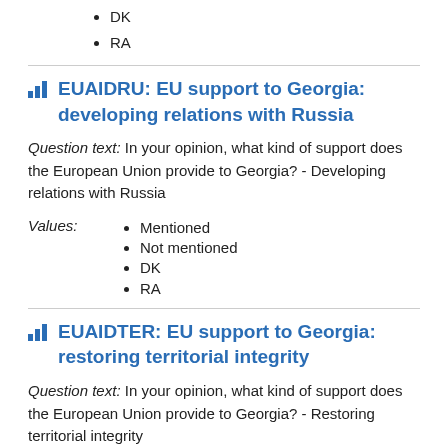DK
RA
EUAIDRU: EU support to Georgia: developing relations with Russia
Question text: In your opinion, what kind of support does the European Union provide to Georgia? - Developing relations with Russia
Values:
Mentioned
Not mentioned
DK
RA
EUAIDTER: EU support to Georgia: restoring territorial integrity
Question text: In your opinion, what kind of support does the European Union provide to Georgia? - Restoring territorial integrity
Values:
Mentioned
Not mentioned